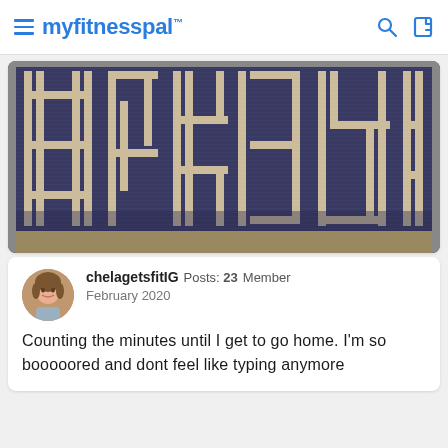myfitnesspal
[Figure (photo): Overhead photo of a large tiled floor or mat with domino-like pieces arranged in patterns on a dark purple/navy background, forming geometric letter-like shapes with beige/tan pieces.]
chelagetsfitIG  Posts: 23  Member
February 2020

Counting the minutes until I get to go home. I'm so booooored and dont feel like typing anymore